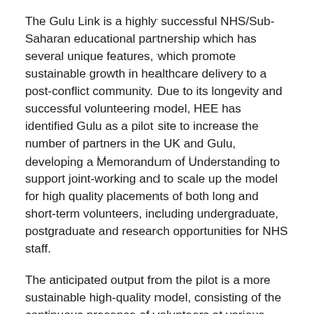The Gulu Link is a highly successful NHS/Sub-Saharan educational partnership which has several unique features, which promote sustainable growth in healthcare delivery to a post-conflict community. Due to its longevity and successful volunteering model, HEE has identified Gulu as a pilot site to increase the number of partners in the UK and Gulu, developing a Memorandum of Understanding to support joint-working and to scale up the model for high quality placements of both long and short-term volunteers, including undergraduate, postgraduate and research opportunities for NHS staff.
The anticipated output from the pilot is a more sustainable high-quality model, consisting of the continuous presence of volunteers at various levels of experience with a quality supervision function in place and evidence of beneficial results to both the UK and Ugandan health systems, with the aim of replicating the model at scale in other locations.